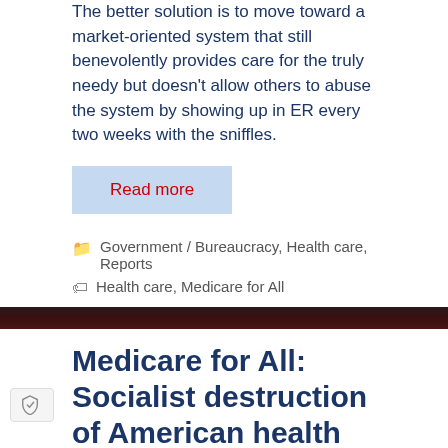The better solution is to move toward a market-oriented system that still benevolently provides care for the truly needy but doesn't allow others to abuse the system by showing up in ER every two weeks with the sniffles.
Read more
Government / Bureaucracy, Health care, Reports
Health care, Medicare for All
Medicare for All: Socialist destruction of American health care
November 4, 2018 by Tom McGinley